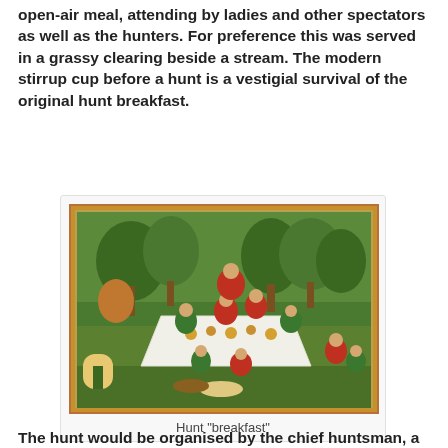open-air meal, attending by ladies and other spectators as well as the hunters. For preference this was served in a grassy clearing beside a stream. The modern stirrup cup before a hunt is a vestigial survival of the original hunt breakfast.
[Figure (illustration): Medieval illuminated manuscript illustration depicting a hunt breakfast scene with hunters and nobles gathered around a white tablecloth spread on the ground in a woodland setting, with horses, dogs, and various figures in red and green garments.]
Hunt "breakfast"
The hunt would be organised by the chief huntsman, a